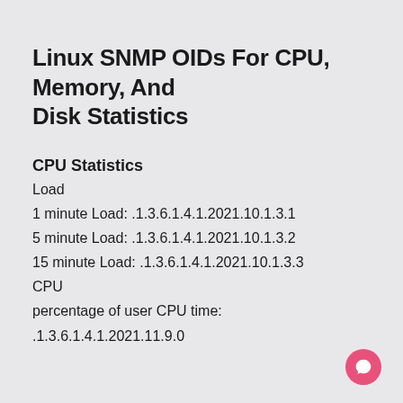Linux SNMP OIDs For CPU, Memory, And Disk Statistics
CPU Statistics
Load
1 minute Load: .1.3.6.1.4.1.2021.10.1.3.1
5 minute Load: .1.3.6.1.4.1.2021.10.1.3.2
15 minute Load: .1.3.6.1.4.1.2021.10.1.3.3
CPU
percentage of user CPU time:
.1.3.6.1.4.1.2021.11.9.0